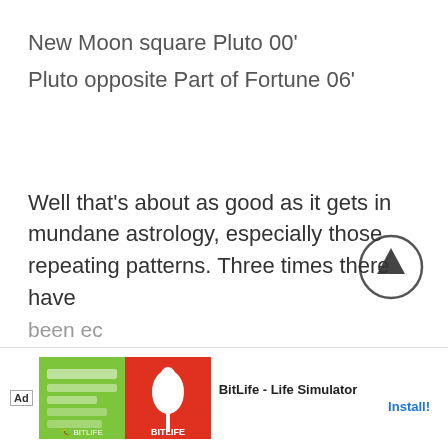New Moon square Pluto 00'
Pluto opposite Part of Fortune 06'
Well that’s about as good as it gets in mundane astrology, especially those repeating patterns. Three times there have been ec... wed by a major... ainland,
[Figure (other): Scroll-up arrow button circle icon]
[Figure (other): Advertisement banner: BitLife - Life Simulator app ad with green and red images and Install button]